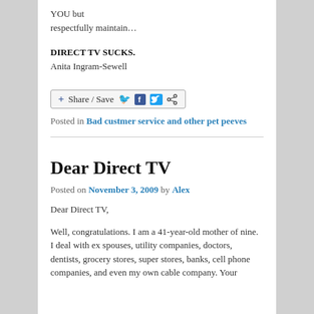YOU but respectfully maintain…
DIRECT TV SUCKS.
Anita Ingram-Sewell
[Figure (other): Share / Save button with Facebook, Twitter, and share icons]
Posted in Bad custmer service and other pet peeves
Dear Direct TV
Posted on November 3, 2009 by Alex
Dear Direct TV,
Well, congratulations. I am a 41-year-old mother of nine. I deal with ex spouses, utility companies, doctors, dentists, grocery stores, super stores, banks, cell phone companies, and even my own cable company. Your